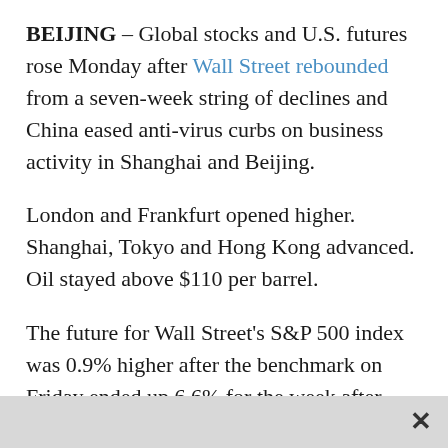BEIJING – Global stocks and U.S. futures rose Monday after Wall Street rebounded from a seven-week string of declines and China eased anti-virus curbs on business activity in Shanghai and Beijing.
London and Frankfurt opened higher. Shanghai, Tokyo and Hong Kong advanced. Oil stayed above $110 per barrel.
The future for Wall Street's S&P 500 index was 0.9% higher after the benchmark on Friday ended up 6.6% for the week after surging inflation declined. U.S. markets are closed Monday for a holiday.
“Markets rallied into the long weekend, providing a positive tone at the start of this week,” ING economists said in a report.